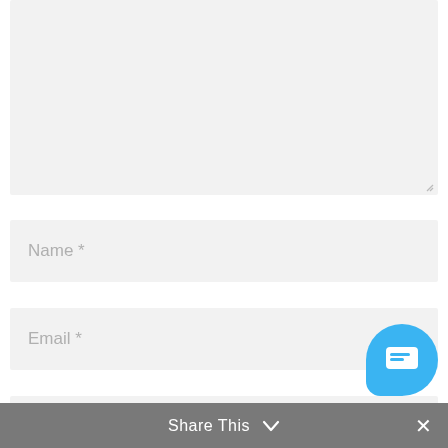[Figure (screenshot): A large light gray textarea input field with a resize handle at the bottom right corner]
Name *
Email *
Website
[Figure (illustration): A blue rounded speech bubble chat button icon in the bottom right corner]
Share This  ∨  ×